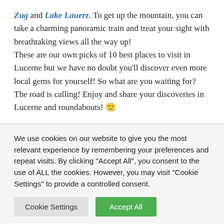Zug and Lake Lauerz. To get up the mountain, you can take a charming panoramic train and treat your sight with breathtaking views all the way up! These are our own picks of 10 best places to visit in Lucerne but we have no doubt you'll discover even more local gems for yourself! So what are you waiting for? The road is calling! Enjoy and share your discoveries in Lucerne and roundabouts! 🙂
We use cookies on our website to give you the most relevant experience by remembering your preferences and repeat visits. By clicking "Accept All", you consent to the use of ALL the cookies. However, you may visit "Cookie Settings" to provide a controlled consent.